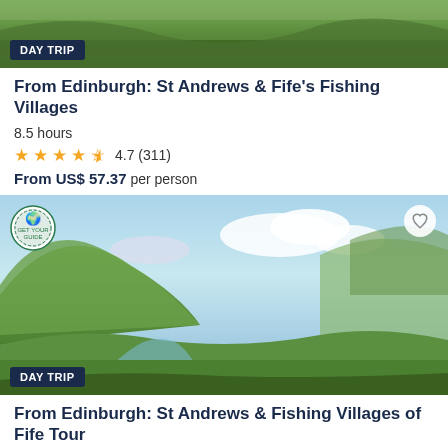[Figure (photo): Scenic outdoor photo with grass and path, partially cropped at top]
DAY TRIP
From Edinburgh: St Andrews & Fife's Fishing Villages
8.5 hours
4.7 (311)
From US$ 57.37 per person
[Figure (photo): Scenic Scottish highlands valley with green hills and river under cloudy sky]
DAY TRIP
From Edinburgh: St Andrews & Fishing Villages of Fife Tour
9 hours
GetYourGuide uses cookies to give you the best possible service. If you continue browsing, you agree to the use of cookies. More details can be found in our privacy policy.